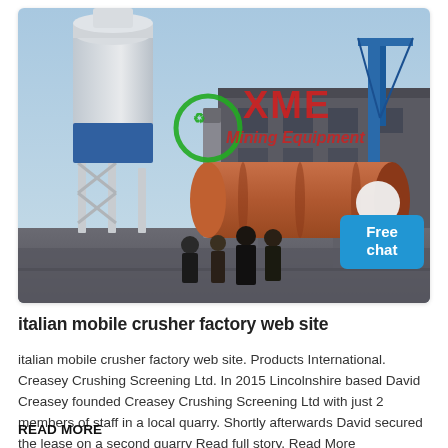[Figure (photo): Industrial mining/crushing facility with large blue-white silo tower, orange cylindrical drum machinery, metal structures and scaffolding, blue crane in background, several workers in foreground, hazy sky. XME Mining Equipment logo overlaid in red/green text.]
italian mobile crusher factory web site
italian mobile crusher factory web site. Products International. Creasey Crushing Screening Ltd. In 2015 Lincolnshire based David Creasey founded Creasey Crushing Screening Ltd with just 2 members of staff in a local quarry. Shortly afterwards David secured the lease on a second quarry Read full story. Read More
READ MORE